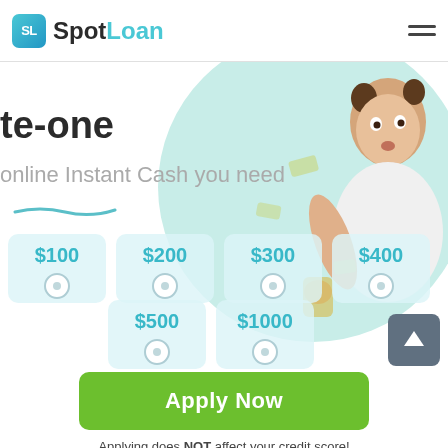[Figure (logo): SpotLoan logo with SL icon and hamburger menu]
te-one
online Instant Cash you need
[Figure (infographic): Loan amount selector with options: $100, $200, $300, $400, $500, $1000 displayed as cards with radio buttons, and a woman holding money bags in the background]
Apply Now
Applying does NOT affect your credit score!
No credit check to apply.